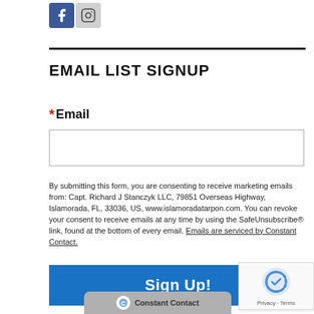[Figure (logo): Facebook and Instagram social media icons]
EMAIL LIST SIGNUP
* Email
By submitting this form, you are consenting to receive marketing emails from: Capt. Richard J Stanczyk LLC, 79851 Overseas Highway, Islamorada, FL, 33036, US, www.islamoradatarpon.com. You can revoke your consent to receive emails at any time by using the SafeUnsubscribe® link, found at the bottom of every email. Emails are serviced by Constant Contact.
[Figure (logo): Constant Contact logo bar at bottom]